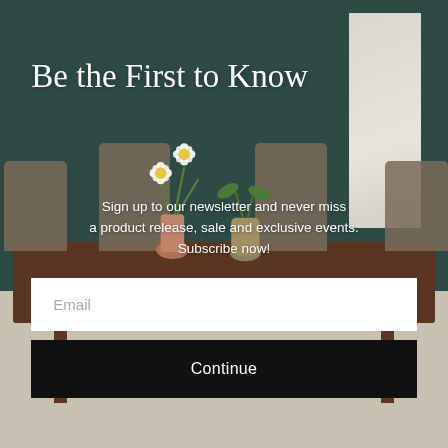[Figure (photo): Interior design newsletter signup page showing a mid-century modern dining room with dark teal wall, wooden dining table and chairs, white floral art panel on the right, and vases with daisy flowers on the table. Dark grey side borders flank the main image.]
Be the First to Know
Sign up to our newsletter and never miss a product release, sale and exclusive events. Subscribe now!
Email
Continue